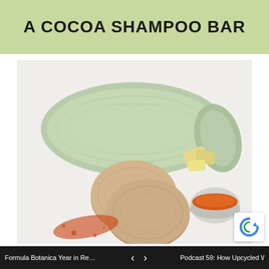A COCOA SHAMPOO BAR
[Figure (photo): Overhead flat-lay photo of two round cocoa shampoo bars stacked slightly, a rolled mint-green fluffy towel, chunks of cocoa butter, a small bowl of orange cocoa powder, and scattered red-brown powder on a white background.]
Formula Botanica Year in Review 20... < > Podcast 59: How Upcycled Wa...